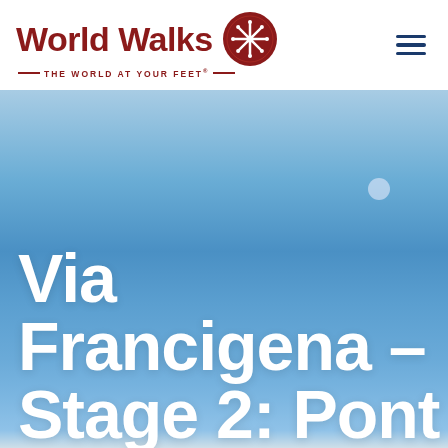World Walks — THE WORLD AT YOUR FEET®
[Figure (photo): Blue sky background with a faint moon visible in the upper right. Large white bold text overlay reading 'Via Francigena – Stage 2: Pont...' (text continues beyond frame)]
Via Francigena – Stage 2: Pont